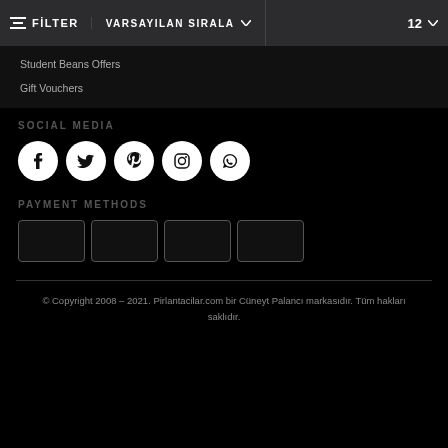FİLTER   VARSAYILAN SIRALA   12
Student Beans Offers
Gift Vouchers
SOCIAL MEDIA
[Figure (illustration): Five white social media icon circles: Facebook, Twitter, Pinterest, Instagram, WhatsApp]
PAYMENT METHODS
[Figure (illustration): Four payment method card placeholders with white border on dark background]
© Copyright 2008 – 2021. Pirlantacilar.com bir Cüneyt Palancı markasıdır. Tüm hakları saklıdır.